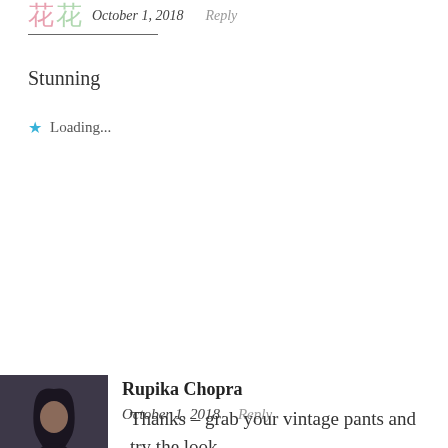October 1, 2018   Reply
Stunning
★ Loading...
Rupika Chopra
October 1, 2018   Reply
Thanks – grab your vintage pants and try the look
★ Loading...